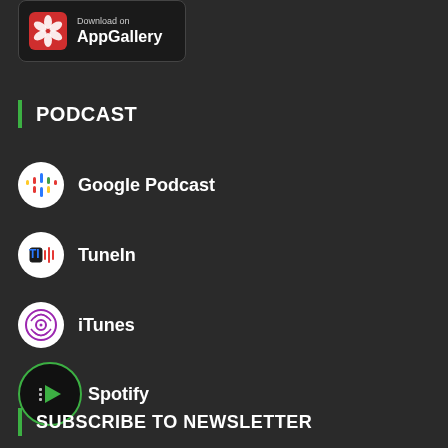[Figure (screenshot): Huawei AppGallery download button with red Huawei logo and white text]
PODCAST
Google Podcast
TuneIn
iTunes
Spotify
SUBSCRIBE TO NEWSLETTER